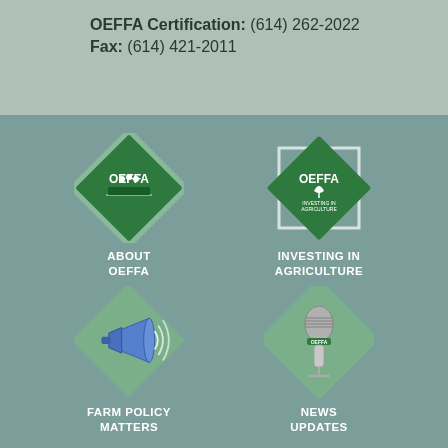OEFFA Certification: (614) 262-2022
Fax: (614) 421-2011
[Figure (logo): OEFFA logo diamond shape green with text OEFFA, labeled ABOUT OEFFA]
[Figure (logo): OEFFA Investing in Agriculture logo diamond with white border, labeled INVESTING IN AGRICULTURE]
[Figure (illustration): Megaphone/bullhorn icon on diamond background, labeled FARM POLICY MATTERS]
[Figure (illustration): Vintage microphone with OEFFA label on diamond background, labeled NEWS UPDATES]
[Figure (illustration): Vegetables/greens on diamond background, labeled RESOURCES]
[Figure (illustration): Sunflower on diamond background, labeled SEASONAL]